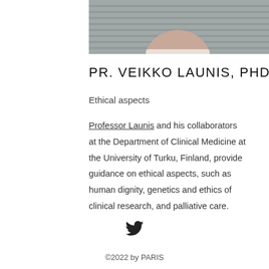[Figure (photo): Partial photo of Professor Veikko Launis showing chin/neck area against a striped background]
PR. VEIKKO LAUNIS, PHD
Ethical aspects
Professor Launis and his collaborators at the Department of Clinical Medicine at the University of Turku, Finland, provide guidance on ethical aspects, such as human dignity, genetics and ethics of clinical research, and palliative care.
[Figure (illustration): Twitter bird icon]
©2022 by PARIS